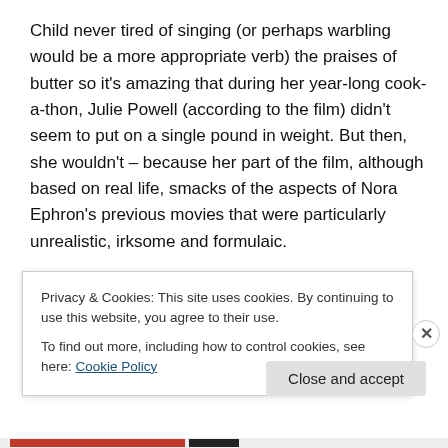Child never tired of singing (or perhaps warbling would be a more appropriate verb) the praises of butter so it's amazing that during her year-long cook-a-thon, Julie Powell (according to the film) didn't seem to put on a single pound in weight. But then, she wouldn't – because her part of the film, although based on real life, smacks of the aspects of Nora Ephron's previous movies that were particularly unrealistic, irksome and formulaic.
There's the wisecracking best friend (see Rosie O'Donnell in Sleepless in Seattle), the shabby chic apartment
Privacy & Cookies: This site uses cookies. By continuing to use this website, you agree to their use.
To find out more, including how to control cookies, see here: Cookie Policy